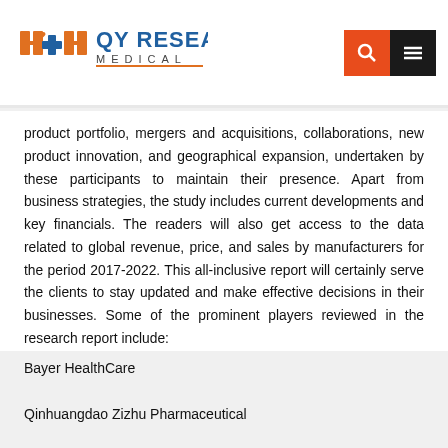QY Research Medical
product portfolio, mergers and acquisitions, collaborations, new product innovation, and geographical expansion, undertaken by these participants to maintain their presence. Apart from business strategies, the study includes current developments and key financials. The readers will also get access to the data related to global revenue, price, and sales by manufacturers for the period 2017-2022. This all-inclusive report will certainly serve the clients to stay updated and make effective decisions in their businesses. Some of the prominent players reviewed in the research report include:
Bayer HealthCare
Qinhuangdao Zizhu Pharmaceutical